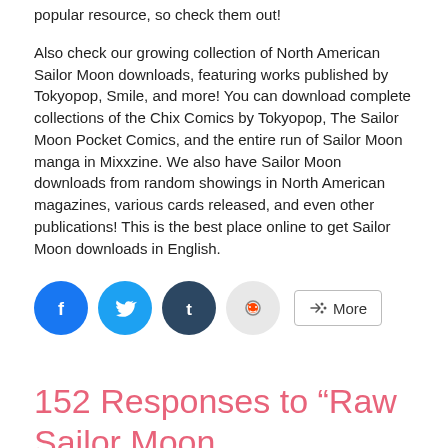popular resource, so check them out!
Also check our growing collection of North American Sailor Moon downloads, featuring works published by Tokyopop, Smile, and more! You can download complete collections of the Chix Comics by Tokyopop, The Sailor Moon Pocket Comics, and the entire run of Sailor Moon manga in Mixxzine. We also have Sailor Moon downloads from random showings in North American magazines, various cards released, and even other publications! This is the best place online to get Sailor Moon downloads in English.
[Figure (infographic): Social share buttons: Facebook (blue circle), Twitter (light blue circle), Tumblr (dark circle), Reddit (light gray circle), and a More button with share icon]
152 Responses to “Raw Sailor Moon Downloads”